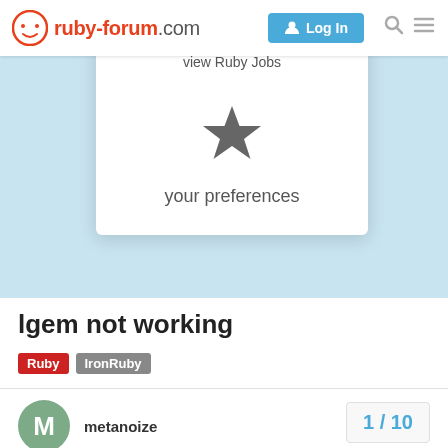ruby-forum.com | Log In
view Ruby Jobs
[Figure (illustration): Star icon representing preferences]
your preferences
lgem not working
Ruby  IronRuby
metanoize
1 / 10